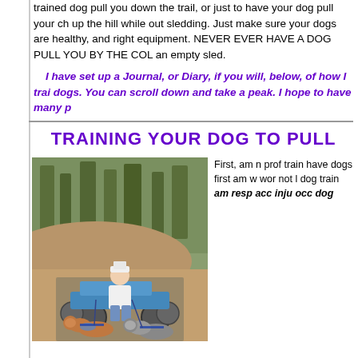trained dog pull you down the trail, or just to have your dog pull your ch up the hill while out sledding. Just make sure your dogs are healthy, and right equipment. NEVER EVER HAVE A DOG PULL YOU BY THE COL an empty sled.
I have set up a Journal, or Diary, if you will, below, of how I trai dogs. You can scroll down and take a peak. I hope to have many p
TRAINING YOUR DOG TO PULL
[Figure (photo): A person riding a wheeled cart/scooter being pulled by two dogs (appear to be Boxers) on a dirt path with trees in the background.]
First, am n prof train have dogs first am w wor not l dog train am resp acc inju occ dog